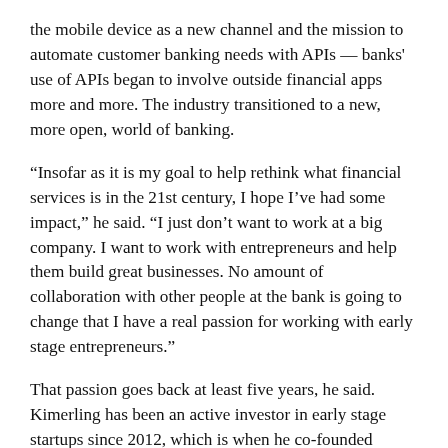the mobile device as a new channel and the mission to automate customer banking needs with APIs — banks' use of APIs began to involve outside financial apps more and more. The industry transitioned to a new, more open, world of banking.
“Insofar as it is my goal to help rethink what financial services is in the 21st century, I hope I’ve had some impact,” he said. “I just don’t want to work at a big company. I want to work with entrepreneurs and help them build great businesses. No amount of collaboration with other people at the bank is going to change that I have a real passion for working with early stage entrepreneurs.”
That passion goes back at least five years, he said. Kimerling has been an active investor in early stage startups since 2012, which is when he co-founded Deciens Capital, a micro venture capital firm that focuses on making angel and seed investments. He’s also been a 500 Startups mentor since